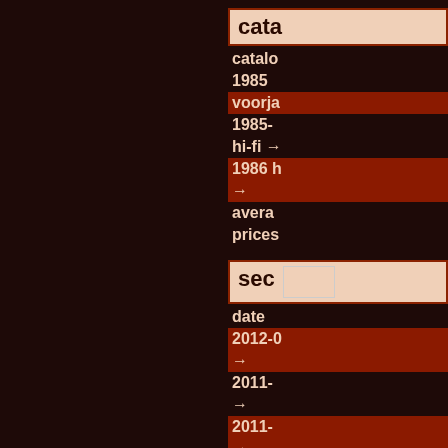cata
catalo
1985
voorja
1985-
hi-fi →
1986 h →
avera
prices
sec
date
2012-0 →
2011- →
2011- →
2011-0